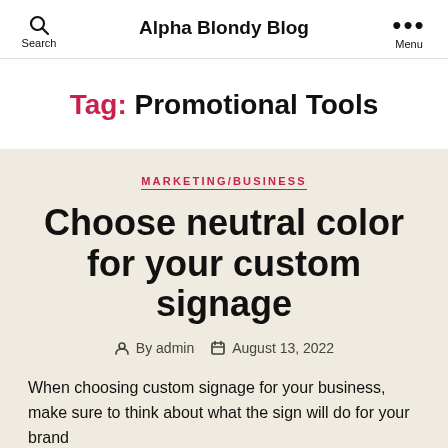Alpha Blondy Blog
Tag: Promotional Tools
MARKETING/BUSINESS
Choose neutral color for your custom signage
By admin  August 13, 2022
When choosing custom signage for your business, make sure to think about what the sign will do for your brand...